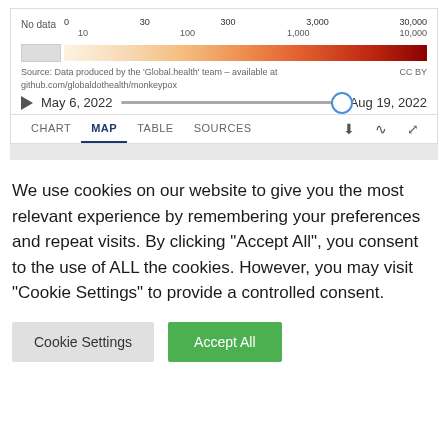[Figure (infographic): Color scale legend for monkeypox case counts ranging from 'No data' (gray) through light cream to dark red for values from 0 to 30,000. Includes a date range slider from May 6, 2022 to Aug 19, 2022 with play button, and navigation tabs: CHART, MAP (active), TABLE, SOURCES, plus icons for download, share, and fullscreen.]
We use cookies on our website to give you the most relevant experience by remembering your preferences and repeat visits. By clicking "Accept All", you consent to the use of ALL the cookies. However, you may visit "Cookie Settings" to provide a controlled consent.